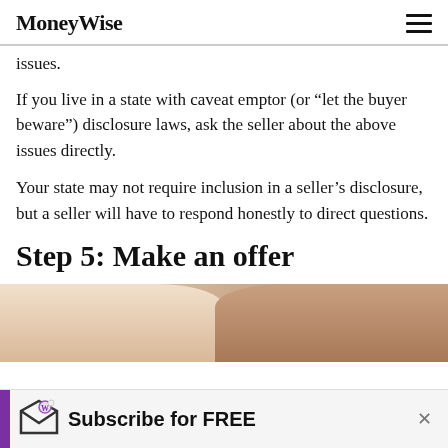MoneyWise
issues.
If you live in a state with caveat emptor (or “let the buyer beware”) disclosure laws, ask the seller about the above issues directly.
Your state may not require inclusion in a seller’s disclosure, but a seller will have to respond honestly to direct questions.
Step 5: Make an offer
[Figure (photo): Two people, partial view of torsos, one in white shirt and one in mauve/pink top, likely discussing something — related to making an offer on a home.]
Subscribe for FREE